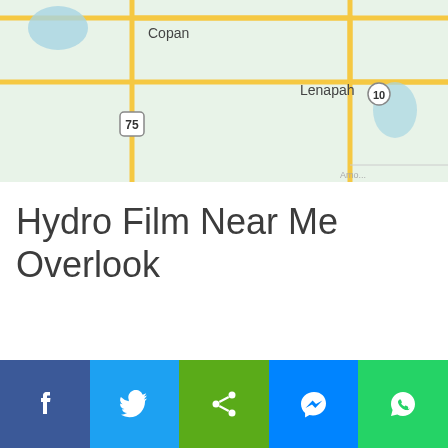[Figure (map): Google Maps snippet showing Copan and Lenapah areas with route 75 and route 10 markers, green and white road map background]
Hydro Film Near Me Overlook
[Figure (infographic): Social sharing bar with five buttons: Facebook (blue), Twitter (light blue), Share (green), Messenger (blue), WhatsApp (green)]